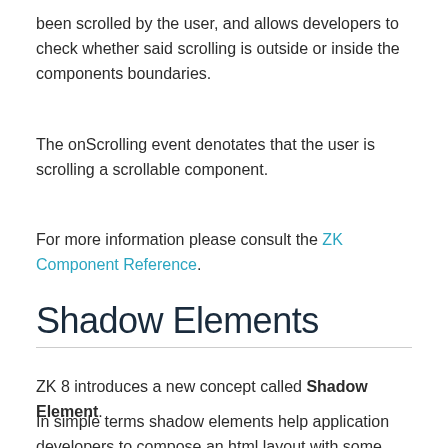been scrolled by the user, and allows developers to check whether said scrolling is outside or inside the components boundaries.
The onScrolling event denotates that the user is scrolling a scrollable component.
For more information please consult the ZK Component Reference.
Shadow Elements
ZK 8 introduces a new concept called Shadow Element.
In simple terms shadow elements help application developers to compose an html layout with some dynamic data. They are basically templates, however, with shadow elements it helps the application to manage templates and their implementation that are outside of the component tree. Thus a shadow element is not visible to users but is handled by ZK.